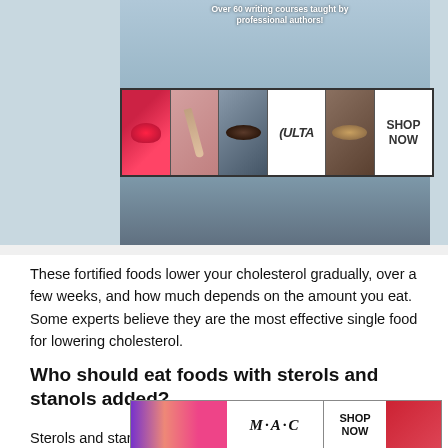[Figure (screenshot): Top advertisement banner with writing courses text and Ulta Beauty cosmetics ad strip showing makeup images, Ulta logo, and SHOP NOW button against a blue-gray background]
These fortified foods lower your cholesterol gradually, over a few weeks, and how much depends on the amount you eat. Some experts believe they are the most effective single food for lowering cholesterol.
Who should eat foods with sterols and stanols added?
Sterols and stanols have been thoroughly researched so they ca
[Figure (screenshot): MAC cosmetics advertisement at bottom with purple, pink lipsticks, MAC logo, SHOP NOW button, and red lipstick section. CLOSE button overlay visible.]